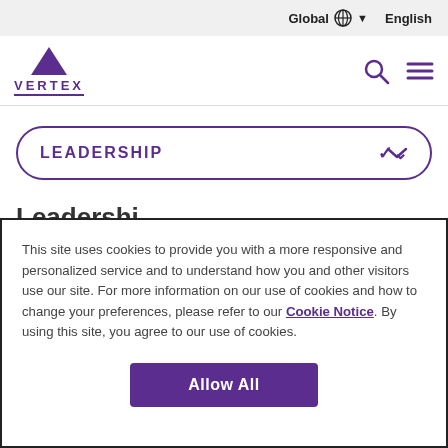Global English
[Figure (logo): Vertex logo with purple triangle and VERTEX text with underline]
LEADERSHIP
This site uses cookies to provide you with a more responsive and personalized service and to understand how you and other visitors use our site. For more information on our use of cookies and how to change your preferences, please refer to our Cookie Notice. By using this site, you agree to our use of cookies.
Allow All